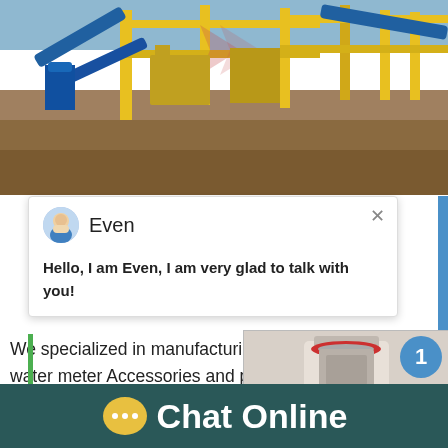[Figure (photo): Industrial mining/crushing plant with yellow steel structures, blue conveyors, heavy machinery on a dirt field under a light sky.]
[Figure (screenshot): Chat popup window showing avatar of agent named 'Even' with message: Hello, I am Even, I am very glad to talk with you!]
We specialized in manufacturing brass bronze fittings, water meter Accessories and pipe fittings, products cover ball valves, angle valves, gate valves, bibcocks, marine valves, pipe fitings,
[Figure (photo): Chat widget overlay showing industrial machine image with blue circle badge showing '1' and 'Click me to chat>>' button.]
Chat Online